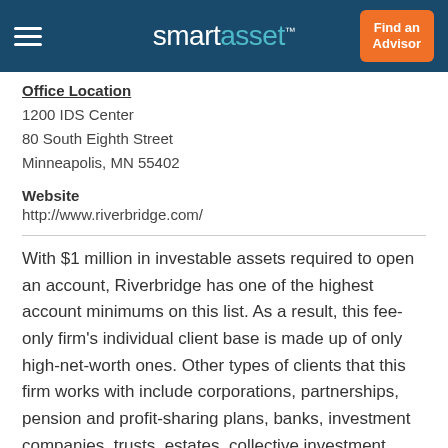smartasset™
Office Location
1200 IDS Center
80 South Eighth Street
Minneapolis, MN 55402
Website
http://www.riverbridge.com/
With $1 million in investable assets required to open an account, Riverbridge has one of the highest account minimums on this list. As a result, this fee-only firm's individual client base is made up of only high-net-worth ones. Other types of clients that this firm works with include corporations, partnerships, pension and profit-sharing plans, banks, investment companies, trusts, estates, collective investment trusts, government entities, insurance companies